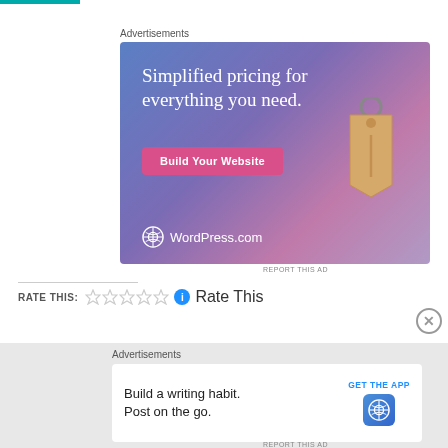Advertisements
[Figure (illustration): WordPress.com advertisement banner with gradient blue-purple-pink background, large white text 'Simplified pricing for everything you need.', a pink 'Build Your Website' button, a tan price tag graphic, and WordPress.com logo at bottom left.]
REPORT THIS AD
RATE THIS: ☆☆☆☆☆ ℹ Rate This
Advertisements
[Figure (illustration): WordPress mobile app advertisement with text 'Build a writing habit. Post on the go.' and a 'GET THE APP' button with WordPress logo icon on light background.]
REPORT THIS AD